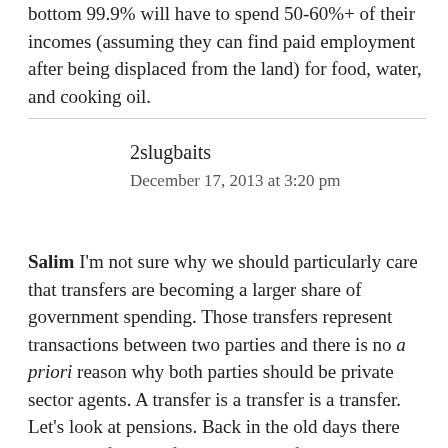bottom 99.9% will have to spend 50-60%+ of their incomes (assuming they can find paid employment after being displaced from the land) for food, water, and cooking oil.
2slugbaits
December 17, 2013 at 3:20 pm
Salim I'm not sure why we should particularly care that transfers are becoming a larger share of government spending. Those transfers represent transactions between two parties and there is no a priori reason why both parties should be private sector agents. A transfer is a transfer is a transfer. Let's look at pensions. Back in the old days there was less of a need for government funded pension support because private sector employers provided the transfer between generations. Those days are long gone (unless